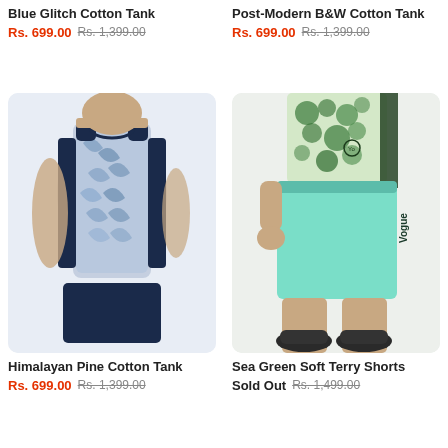Blue Glitch Cotton Tank
Rs. 699.00 Rs. 1,399.00
[Figure (photo): Man wearing blue glitch printed cotton tank top with navy side panels - cropped, top portion cut off]
Post-Modern B&W Cotton Tank
Rs. 699.00 Rs. 1,399.00
[Figure (photo): Man wearing sea green/mint terry shorts with Vogue branding and floral print top, black sneakers]
Himalayan Pine Cotton Tank
Rs. 699.00 Rs. 1,399.00
Sea Green Soft Terry Shorts
Sold Out Rs. 1,499.00